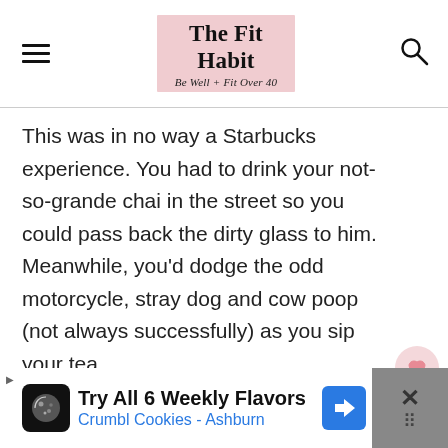The Fit Habit — Be Well + Fit Over 40
This was in no way a Starbucks experience. You had to drink your not-so-grande chai in the street so you could pass back the dirty glass to him. Meanwhile, you'd dodge the odd motorcycle, stray dog and cow poop (not always successfully) as you sip your tea.
[Figure (other): Heart/like button showing 220 likes, and a share button below it]
[Figure (other): Advertisement banner: Try All 6 Weekly Flavors — Crumbl Cookies - Ashburn]